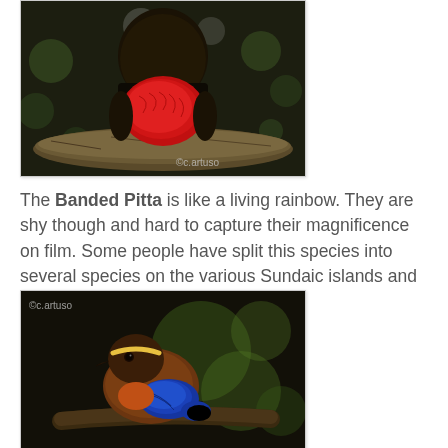[Figure (photo): Close-up photograph of a Banded Pitta bird with vibrant red/crimson plumage on its breast, perched on a branch in a dark forest setting. Watermark reads ©c.artuso.]
The Banded Pitta is like a living rainbow. They are shy though and hard to capture their magnificence on film. Some people have split this species into several species on the various Sundaic islands and the Thai-Malay Peninsula.
[Figure (photo): Close-up photograph of a Banded Pitta bird showing blue and orange-brown plumage, perched on a branch in soft bokeh forest background. Watermark reads ©c.artuso.]